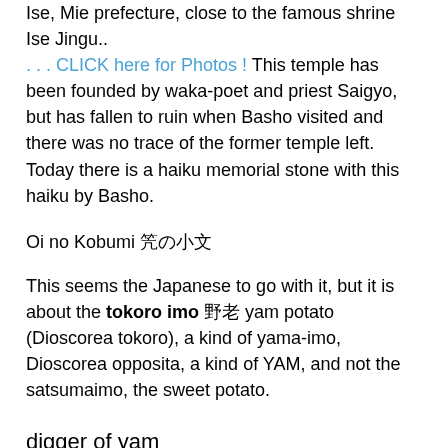Ise, Mie prefecture, close to the famous shrine Ise Jingu.. . . . CLICK here for Photos ! This temple has been founded by waka-poet and priest Saigyo, but has fallen to ruin when Basho visited and there was no trace of the former temple left. Today there is a haiku memorial stone with this haiku by Basho.
Oi no Kobumi 笈の小文
This seems the Japanese to go with it, but it is about the tokoro imo 野老芋 yam potato (Dioscorea tokoro), a kind of yama-imo, Dioscorea opposita, a kind of YAM, and not the satsumaimo, the sweet potato.
digger of yam
tell us about the sorrowful fate
of this mountain!
another version is this: